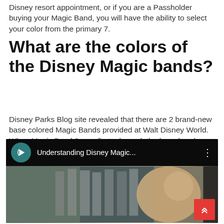Disney resort appointment, or if you are a Passholder buying your Magic Band, you will have the ability to select your color from the primary 7.
What are the colors of the Disney Magic bands?
Disney Parks Blog site revealed that there are 2 brand-new base colored Magic Bands provided at Walt Disney World. When Magic Band 2 very first released, the base band colors consisted of red, blue, orange, green, yellow, gray and pink. Purple was contributed to the household in 2015 and now it appears like we might have 2 more colors signing up with quickly.
[Figure (screenshot): Video thumbnail showing 'Understanding Disney Magic...' with a teal play button icon and a woman in the background near store shelves. A red scroll-to-top button is visible in the bottom right.]